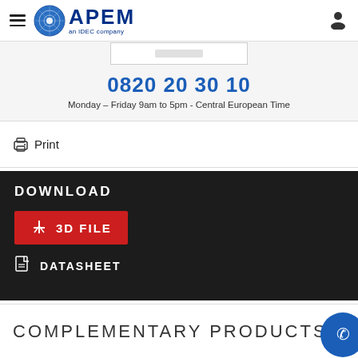APEM – an IDEC company
0820 20 30 10
Monday – Friday 9am to 5pm - Central European Time
Print
DOWNLOAD
3D FILE
DATASHEET
COMPLEMENTARY PRODUCTS